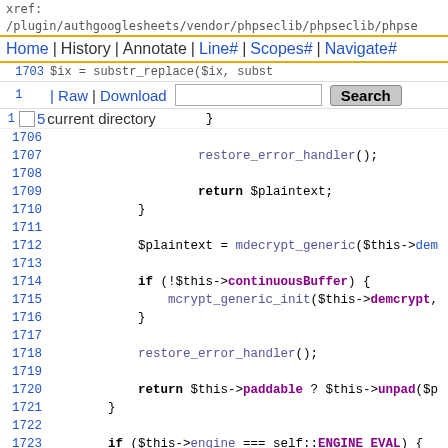xref: /plugin/authgooglesheets/vendor/phpseclib/phpseclib/phpseclib/phpseclib/phpsec
Home | History | Annotate | Line# | Scopes# | Navigate#
Raw | Download | [search box] Search
current directory }
1706
1707   restore_error_handler();
1708
1709   return $plaintext;
1710   }
1711
1712   $plaintext = mdecrypt_generic($this->dem
1713
1714   if (!$this->continuousBuffer) {
1715     mcrypt_generic_init($this->demcrypt,
1716   }
1717
1718   restore_error_handler();
1719
1720   return $this->paddable ? $this->unpad($p
1721   }
1722
1723   if ($this->engine === self::ENGINE_EVAL) {
1724     $inline = $this->inline_crypt;
1725     return $inline('decrypt', $ciphertext);
1726   }
1727
1728   $block_size = $this->block_size;